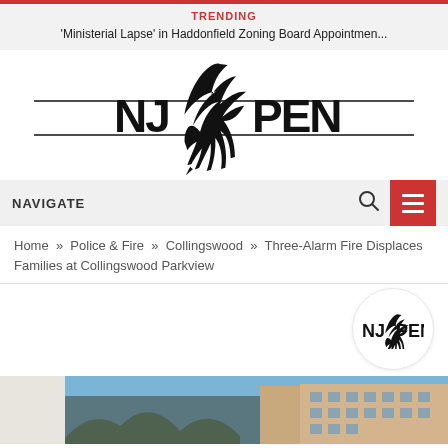TRENDING — 'Ministerial Lapse' in Haddonfield Zoning Board Appointmen...
[Figure (logo): NJPen logo — quill pen forming the letter between NJ and PEN, with two horizontal rules above and below, and a small pen nib beneath]
NAVIGATE
Home » Police & Fire » Collingswood » Three-Alarm Fire Displaces Families at Collingswood Parkview
[Figure (logo): NJPen circular watermark logo]
[Figure (photo): Photo strip of Collingswood Parkview building, blue sky and bare trees visible]